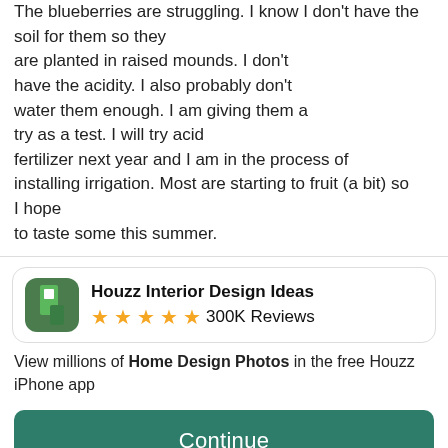The blueberries are struggling. I know I don't have the soil for them so they are planted in raised mounds. I don't have the acidity. I also probably don't water them enough. I am giving them a try as a test. I will try acid fertilizer next year and I am in the process of installing irrigation. Most are starting to fruit (a bit) so I hope to taste some this summer.
[Figure (screenshot): Houzz Interior Design Ideas app card with green icon, 5 gold stars, and 300K Reviews]
View millions of Home Design Photos in the free Houzz iPhone app
Continue
Go to Mobile Site